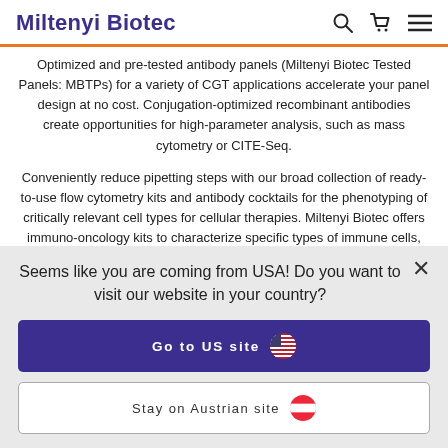Miltenyi Biotec
Optimized and pre-tested antibody panels (Miltenyi Biotec Tested Panels: MBTPs) for a variety of CGT applications accelerate your panel design at no cost. Conjugation-optimized recombinant antibodies create opportunities for high-parameter analysis, such as mass cytometry or CITE-Seq.
Conveniently reduce pipetting steps with our broad collection of ready-to-use flow cytometry kits and antibody cocktails for the phenotyping of critically relevant cell types for cellular therapies. Miltenyi Biotec offers immuno-oncology kits to characterize specific types of immune cells, for example, immune cell subsets
Seems like you are coming from USA! Do you want to visit our website in your country?
Go to US site
Stay on Austrian site